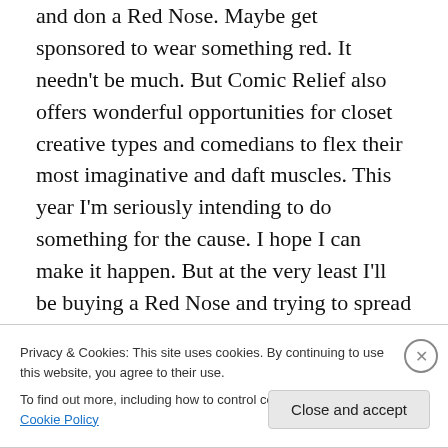and don a Red Nose. Maybe get sponsored to wear something red. It needn't be much. But Comic Relief also offers wonderful opportunities for closet creative types and comedians to flex their most imaginative and daft muscles. This year I'm seriously intending to do something for the cause. I hope I can make it happen. But at the very least I'll be buying a Red Nose and trying to spread the word. Order your fundraising pack as I have, they're free! Surrender to the laughter and feel the happiness light up your life. If you can, try to give something back for worthy causes. And be thankful for the good you're lucky enough
Privacy & Cookies: This site uses cookies. By continuing to use this website, you agree to their use.
To find out more, including how to control cookies, see here: Cookie Policy